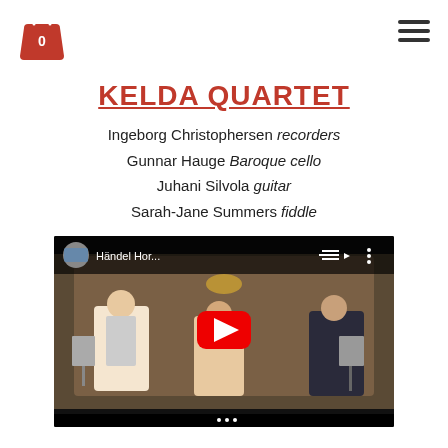Shopping bag icon and hamburger menu
KELDA QUARTET
Ingeborg Christophersen recorders
Gunnar Hauge Baroque cello
Juhani Silvola guitar
Sarah-Jane Summers fiddle
[Figure (screenshot): YouTube video thumbnail showing a performance in a church setting with musicians playing. Title reads 'Händel Hor...' with a red YouTube play button overlay.]